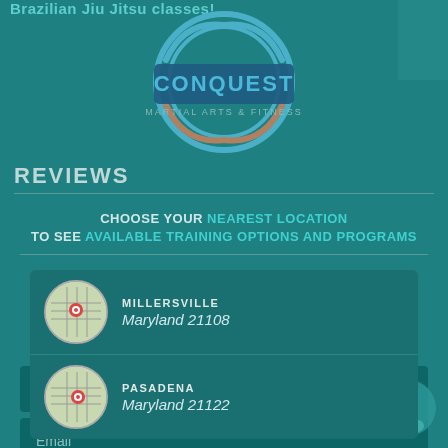Brazilian Jiu Jitsu classes!
[Figure (logo): Conquest Martial Arts & Fitness circular logo with concentric rings and banner]
REVIEWS
CHOOSE YOUR NEAREST LOCATION TO SEE AVAILABLE TRAINING OPTIONS AND PROGRAMS
REQUEST INFORMATION NOW!
[Figure (screenshot): Dropdown location selector showing two options]
MILLERSVILLE - Maryland 21108
PASADENA - Maryland 21122
close
First
re, have a question? Text us here.
Email
Phone